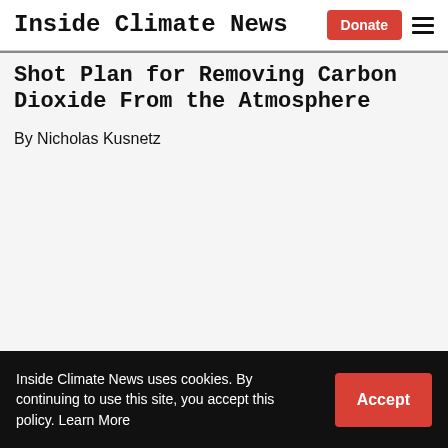Inside Climate News
Shot Plan for Removing Carbon Dioxide From the Atmosphere
By Nicholas Kusnetz
Inside Climate News uses cookies. By continuing to use this site, you accept this policy. Learn More